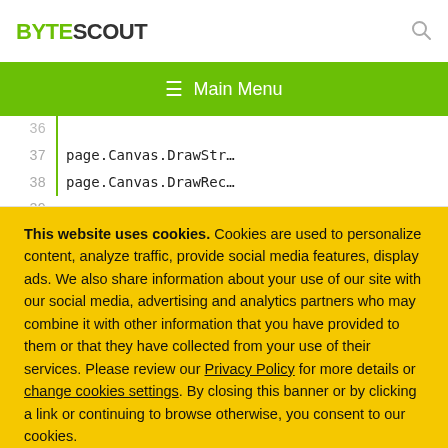BYTESCOUT
≡ Main Menu
[Figure (screenshot): Code editor showing line numbers 36-39 with partially visible lines of code including page.Canvas.DrawStr and page.Canvas.DrawRec]
This website uses cookies. Cookies are used to personalize content, analyze traffic, provide social media features, display ads. We also share information about your use of our site with our social media, advertising and analytics partners who may combine it with other information that you have provided to them or that they have collected from your use of their services. Please review our Privacy Policy for more details or change cookies settings. By closing this banner or by clicking a link or continuing to browse otherwise, you consent to our cookies.
OK